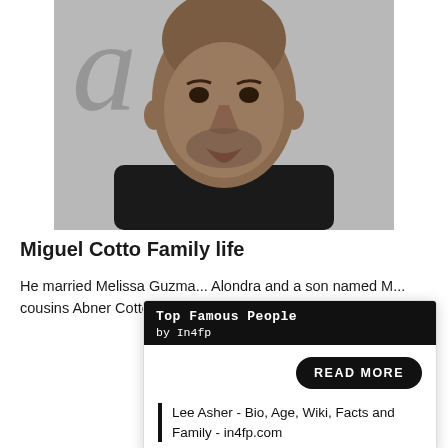[Figure (photo): Headshot photo of Miguel Cotto, a bald man in a dark suit, against a light background with partial letter 'a' visible]
Miguel Cotto Family life
He married Melissa Guzma... Alondra and a son named M... cousins Abner Cotto and C... boxers.
[Figure (infographic): Widget overlay: 'Top Famous People by In4fp' with READ MORE button and link to 'Lee Asher - Bio, Age, Wiki, Facts and Family - in4fp.com']